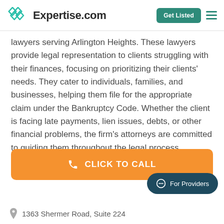Expertise.com
lawyers serving Arlington Heights. These lawyers provide legal representation to clients struggling with their finances, focusing on prioritizing their clients' needs. They cater to individuals, families, and businesses, helping them file for the appropriate claim under the Bankruptcy Code. Whether the client is facing late payments, lien issues, debts, or other financial problems, the firm's attorneys are committed to guiding them throughout the legal process.
[Figure (other): Orange button with phone icon labeled CLICK TO CALL]
[Figure (other): Dark teal pill-shaped button labeled For Providers with chat icon]
1363 Shermer Road, Suite 224